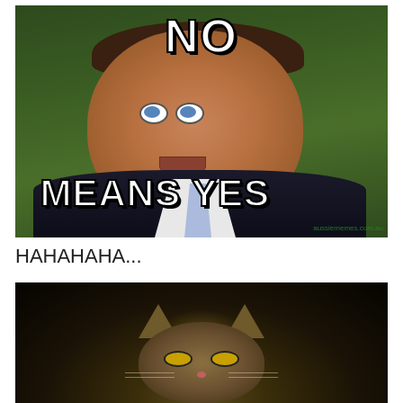[Figure (photo): Meme image of a man with a surprised/wide-eyed expression wearing a dark suit and blue tie, against a dark green leafy background. Bold white Impact-font text overlaid: 'NO' at the top and 'MEANS YES' at the bottom left. Watermark: aussiememes.com.au]
HAHAHAHA...
[Figure (photo): Dark photo of a cat's face (kitten) peering from the bottom of the frame, with glowing amber eyes, against a near-black background with warm amber/gold center glow.]